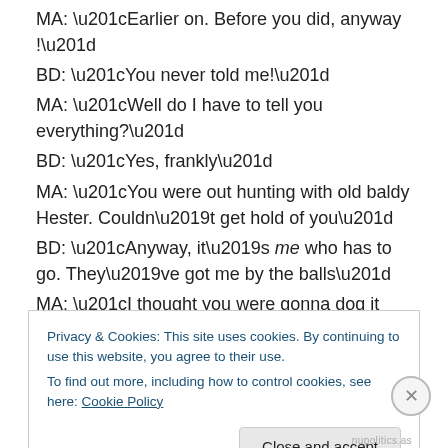MA: “Earlier on. Before you did, anyway !”
BD: “You never told me!”
MA: “Well do I have to tell you everything?”
BD: “Yes, frankly”
MA: “You were out hunting with old baldy Hester. Couldn’t get hold of you”
BD: “Anyway, it’s me who has to go. They’ve got me by the balls”
MA: “I thought you were gonna dog it out ? You said to me ‘fuck them, they don’t understand what we do anyway. I’ll tell the MPs on Wednesday to go fuck themselves’. That’s
Privacy & Cookies: This site uses cookies. By continuing to use this website, you agree to their use.
To find out more, including how to control cookies, see here: Cookie Policy
Close and accept